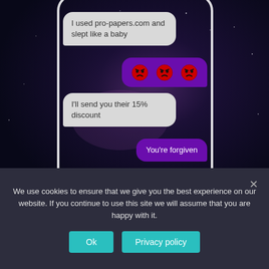[Figure (screenshot): Screenshot of a phone showing a chat conversation with space/galaxy background. Left gray chat bubble: 'I used pro-papers.com and slept like a baby'. Right purple chat bubble: three angry face emojis. Left gray chat bubble: 'I'll send you their 15% discount'. Right purple chat bubble: 'You're forgiven'. A purple horizontal bar at the bottom of the phone. Phone is shown in a white-rounded-rectangle frame.]
We use cookies to ensure that we give you the best experience on our website. If you continue to use this site we will assume that you are happy with it.